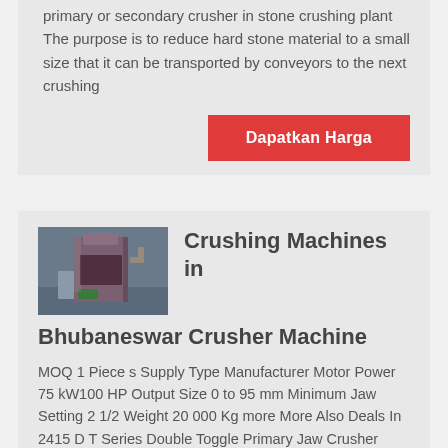primary or secondary crusher in stone crushing plant The purpose is to reduce hard stone material to a small size that it can be transported by conveyors to the next crushing
Dapatkan Harga
[Figure (photo): Photo of an industrial crushing machine in a factory setting]
Crushing Machines in Bhubaneswar Crusher Machine
MOQ 1 Piece s Supply Type Manufacturer Motor Power 75 kW100 HP Output Size 0 to 95 mm Minimum Jaw Setting 2 1/2 Weight 20 000 Kg more More Also Deals In 2415 D T Series Double Toggle Primary Jaw Crusher